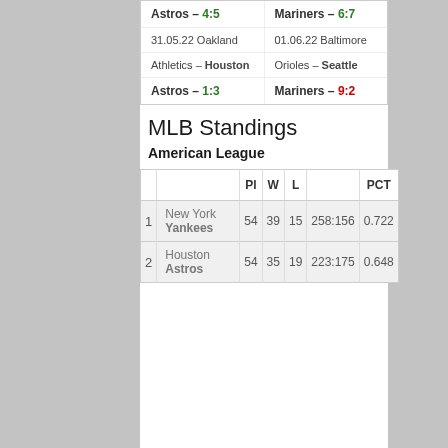|  |  |
| --- | --- |
| Astros – 4:5 | Mariners – 6:7 |
| 31.05.22 Oakland | 01.06.22 Baltimore |
| Athletics – Houston | Orioles – Seattle |
| Astros – 1:3 | Mariners – 9:2 |
MLB Standings
American League
|  |  | Pl | W | L |  | PCT |
| --- | --- | --- | --- | --- | --- | --- |
| 1 | New York Yankees | 54 | 39 | 15 | 258:156 | 0.722 |
| 2 | Houston Astros | 54 | 35 | 19 | 223:175 | 0.648 |